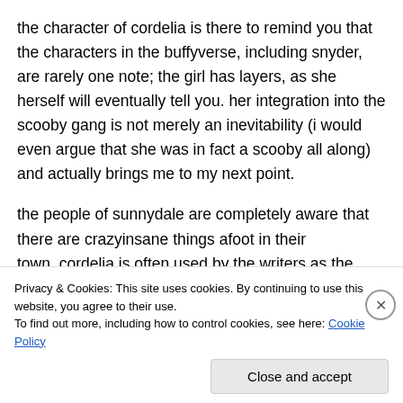the character of cordelia is there to remind you that the characters in the buffyverse, including snyder, are rarely one note; the girl has layers, as she herself will eventually tell you. her integration into the scooby gang is not merely an inevitability (i would even argue that she was in fact a scooby all along) and actually brings me to my next point.
the people of sunnydale are completely aware that there are crazyinsane things afoot in their town. cordelia is often used by the writers as the
Privacy & Cookies: This site uses cookies. By continuing to use this website, you agree to their use.
To find out more, including how to control cookies, see here: Cookie Policy